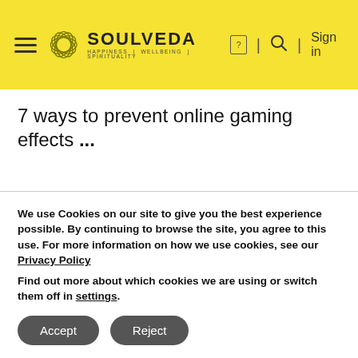SOULVEDA | HAPPINESS | WELLBEING | SPIRITUALITY — Sign in
7 ways to prevent online gaming effects ...
We use Cookies on our site to give you the best experience possible. By continuing to browse the site, you agree to this use. For more information on how we use cookies, see our Privacy Policy
Find out more about which cookies we are using or switch them off in settings.